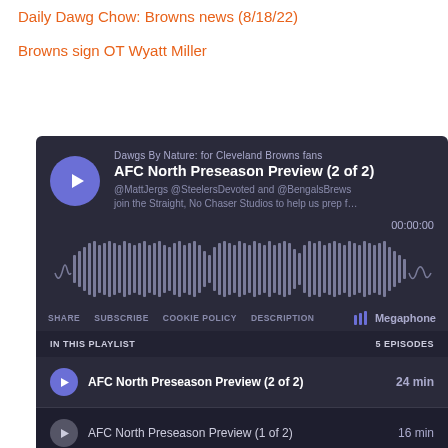Daily Dawg Chow: Browns news (8/18/22)
Browns sign OT Wyatt Miller
[Figure (screenshot): Megaphone podcast embed player showing 'AFC North Preseason Preview (2 of 2)' episode from Dawgs By Nature: for Cleveland Browns fans podcast, with waveform visualizer, share/subscribe controls, and a playlist of 5 episodes including AFC North Preseason Preview (2 of 2) at 24 min and AFC North Preseason Preview (1 of 2) at 16 min.]